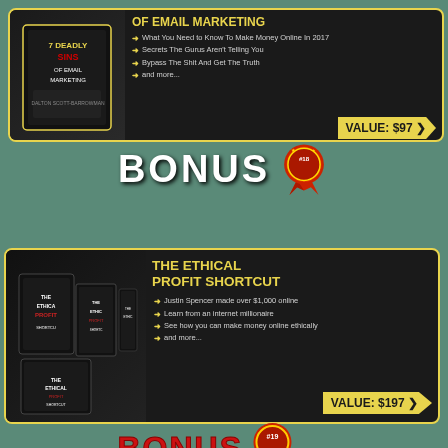[Figure (infographic): Bonus card for '7 Deadly Sins of Email Marketing' with book graphic, bullet points, and VALUE: $97 badge]
BONUS #18
[Figure (infographic): Bonus card for 'The Ethical Profit Shortcut' with book graphic, bullet points, and VALUE: $197 badge]
BONUS #19